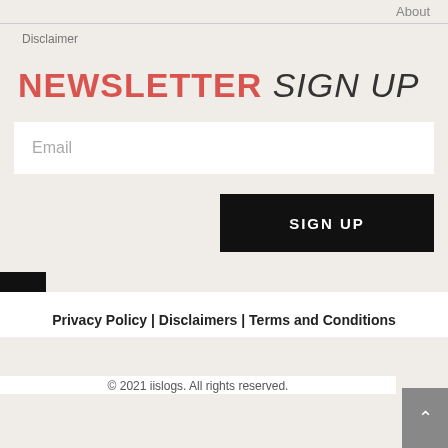About
Disclaimer
NEWSLETTER SIGN UP
Email
SIGN UP
Privacy Policy | Disclaimers | Terms and Conditions
© 2021 iislogs. All rights reserved.